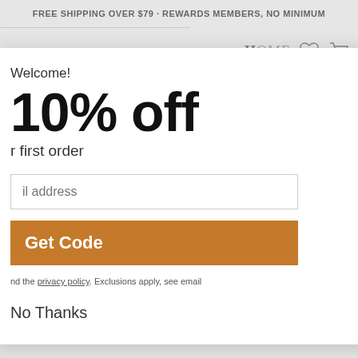FREE SHIPPING OVER $79 · REWARDS MEMBERS, NO MINIMUM
[Figure (screenshot): Website header showing 'o Home' brand name with heart and cart icons, search bar, and product image of ceiling fan blades with navigation arrow. TOP button visible. Text 'e Two-Light' partially visible.]
Welcome!
10% off
r first order
il address
Get Code
nd the privacy policy. Exclusions apply, see email
No Thanks